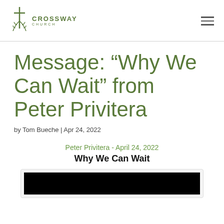CROSSWAY CHURCH
Message: “Why We Can Wait” from Peter Privitera
by Tom Bueche | Apr 24, 2022
Peter Privitera - April 24, 2022
Why We Can Wait
[Figure (screenshot): Video player thumbnail showing a black screen, embedded in a light gray card]